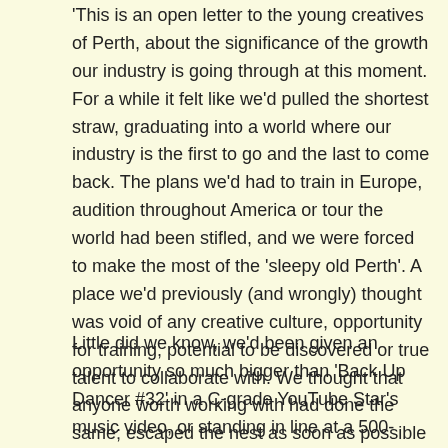This is an open letter to the young creatives of Perth, about the significance of the growth our industry is going through at this moment. For a while it felt like we'd pulled the shortest straw, graduating into a world where our industry is the first to go and the last to come back. The plans we'd had to train in Europe, audition throughout America or tour the world had been stifled, and we were forced to make the most of the ‘sleepy old Perth’. A place we'd previously (and wrongly) thought was void of any creative culture, opportunity for training, potential to be discovered or true talent to collaborate with. We thought that anyone worth working with had done the same; escaped the nest as soon as possible for something bigger and better.
Little did we know, we'd been given an opportunity so much bigger than 'Back Up Dancer #32' in a C-grade YouTube Star's music video, or standing in line at a 500-person cattle call audition for 'Civil War The Musical' for hours only